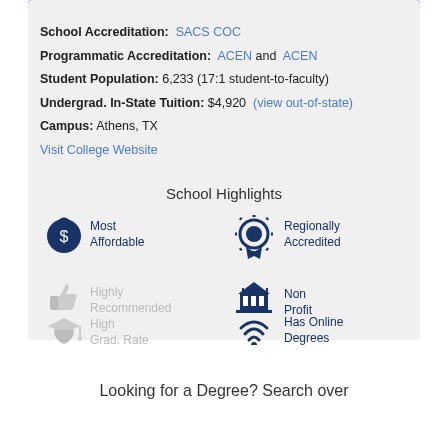School Accreditation: SACS COC
Programmatic Accreditation: ACEN and ACEN
Student Population: 6,233 (17:1 student-to-faculty)
Undergrad. In-State Tuition: $4,920 (view out-of-state)
Campus: Athens, TX
Visit College Website
School Highlights
[Figure (infographic): School highlights icons: Most Affordable (active, blue), Regionally Accredited (active, blue), Highly Recommended (inactive, gray), Non Profit (active, blue), High Grad. Rate (inactive, gray), Has Online Degrees (active, blue)]
Looking for a Degree? Search over